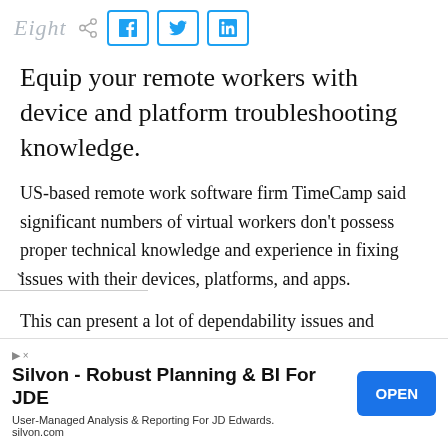Eight [social share buttons: Facebook, Twitter, LinkedIn]
Equip your remote workers with device and platform troubleshooting knowledge.
US-based remote work software firm TimeCamp said significant numbers of virtual workers don't possess proper technical knowledge and experience in fixing issues with their devices, platforms, and apps.
This can present a lot of dependability issues and [continues below]
[Figure (other): Advertisement banner: Silvon - Robust Planning & BI For JDE. User-Managed Analysis & Reporting For JD Edwards. silvon.com. With OPEN button.]